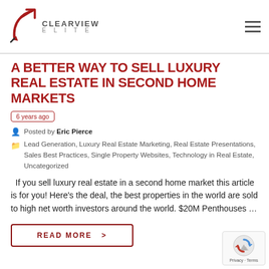Clearview Elite
A BETTER WAY TO SELL LUXURY REAL ESTATE IN SECOND HOME MARKETS
6 years ago
Posted by Eric Pierce
Lead Generation, Luxury Real Estate Marketing, Real Estate Presentations, Sales Best Practices, Single Property Websites, Technology in Real Estate, Uncategorized
If you sell luxury real estate in a second home market this article is for you! Here's the deal, the best properties in the world are sold to high net worth investors around the world. $20M Penthouses …
READ MORE >